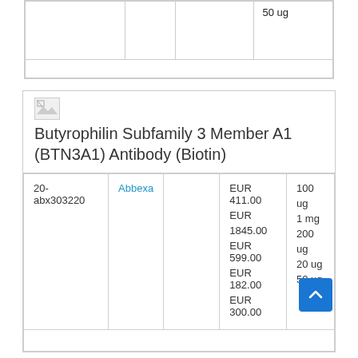|  |  |  | 50 ug |
Butyrophilin Subfamily 3 Member A1 (BTN3A1) Antibody (Biotin)
| 20-abx303220 | Abbexa |  | EUR 411.00
EUR 1845.00
EUR 599.00
EUR 182.00
EUR 300.00 | 100 ug
1 mg
200 ug
20 ug
50 ug |